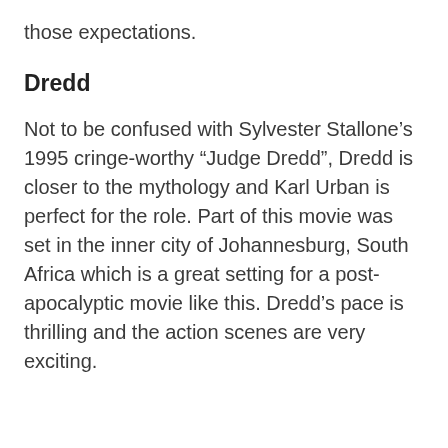those expectations.
Dredd
Not to be confused with Sylvester Stallone’s 1995 cringe-worthy “Judge Dredd”, Dredd is closer to the mythology and Karl Urban is perfect for the role. Part of this movie was set in the inner city of Johannesburg, South Africa which is a great setting for a post-apocalyptic movie like this. Dredd’s pace is thrilling and the action scenes are very exciting.